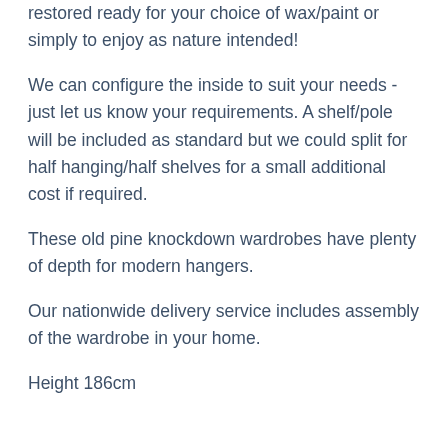restored ready for your choice of wax/paint or simply to enjoy as nature intended!
We can configure the inside to suit your needs - just let us know your requirements. A shelf/pole will be included as standard but we could split for half hanging/half shelves for a small additional cost if required.
These old pine knockdown wardrobes have plenty of depth for modern hangers.
Our nationwide delivery service includes assembly of the wardrobe in your home.
Height 186cm